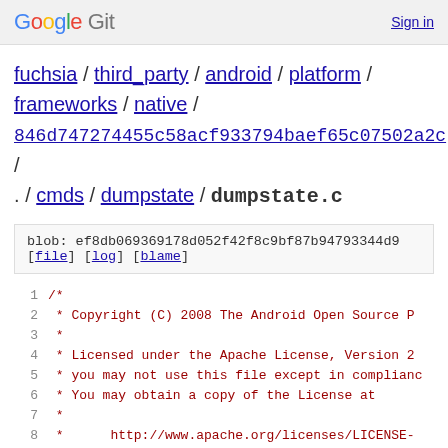Google Git  Sign in
fuchsia / third_party / android / platform / frameworks / native / 846d747274455c58acf933794baef65c07502a2c / . / cmds / dumpstate / dumpstate.c
blob: ef8db069369178d052f42f8c9bf87b94793344d9
[file] [log] [blame]
[Figure (screenshot): Source code viewer showing beginning of dumpstate.c file with Apache license header comment, lines 1-8 visible]